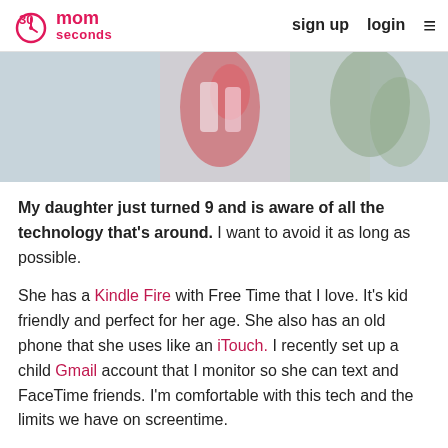30seconds mom — sign up  login
[Figure (photo): Hero photo of a child holding colorful items outdoors, blurred background with pinks and greens]
My daughter just turned 9 and is aware of all the technology that's around. I want to avoid it as long as possible.
She has a Kindle Fire with Free Time that I love. It's kid friendly and perfect for her age. She also has an old phone that she uses like an iTouch. I recently set up a child Gmail account that I monitor so she can text and FaceTime friends. I'm comfortable with this tech and the limits we have on screentime.